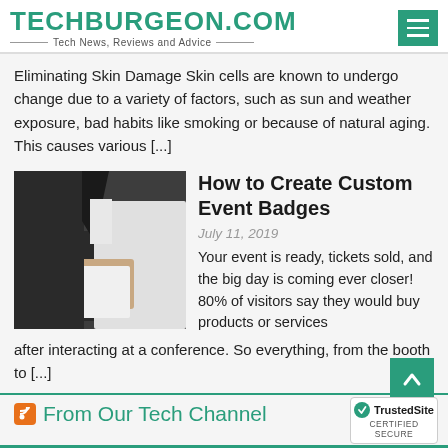TECHBURGEON.COM — Tech News, Reviews and Advice
Eliminating Skin Damage Skin cells are known to undergo change due to a variety of factors, such as sun and weather exposure, bad habits like smoking or because of natural aging. This causes various [...]
[Figure (photo): Person in suit holding a blank white card/badge]
How to Create Custom Event Badges
July 11, 2019
Your event is ready, tickets sold, and the big day is coming ever closer! 80% of visitors say they would buy products or services after interacting at a conference. So everything, from the booth to [...]
From Our Tech Channel